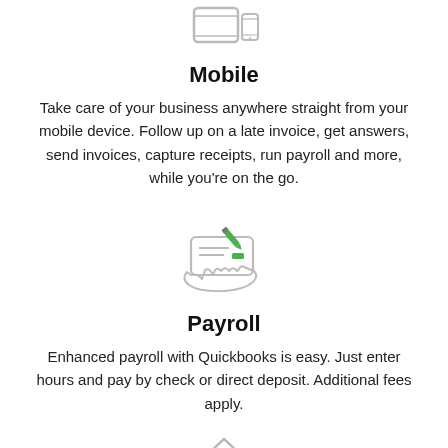[Figure (illustration): Mobile device icon (smartphone/tablet outline) shown at top of page]
Mobile
Take care of your business anywhere straight from your mobile device. Follow up on a late invoice, get answers, send invoices, capture receipts, run payroll and more, while you're on the go.
[Figure (illustration): Payroll icon: a hand holding a check with a green pencil writing on it]
Payroll
Enhanced payroll with Quickbooks is easy. Just enter hours and pay by check or direct deposit. Additional fees apply.
[Figure (illustration): Partially visible house/home icon at the bottom of the page]